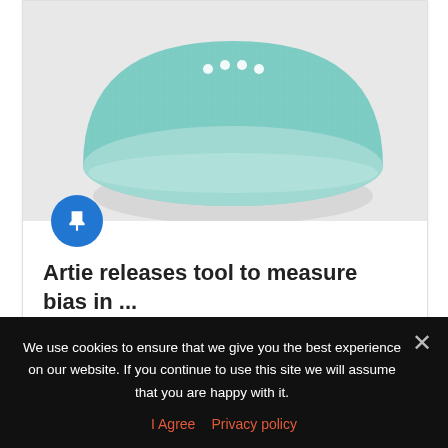[Figure (photo): A teal/mint colored Google Home Mini smart speaker on a white/light gray surface, viewed from slightly above. The puck-shaped fabric device has four LED dots on top. A blue circular pin badge icon overlaps the bottom-left corner of the image.]
Artie releases tool to measure bias in ...
15/07/2020
Popular Posts
We use cookies to ensure that we give you the best experience on our website. If you continue to use this site we will assume that you are happy with it.
I Agree  Privacy policy